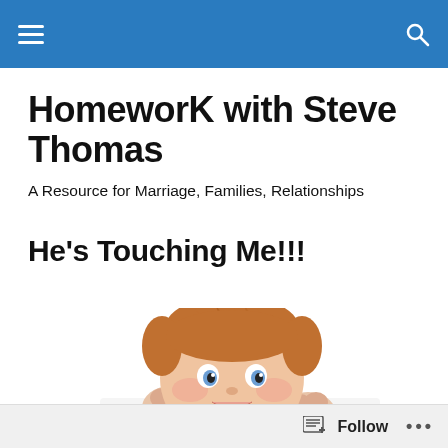HomeworkK with Steve Thomas — navigation bar
HomeworK with Steve Thomas
A Resource for Marriage, Families, Relationships
He's Touching Me!!!
[Figure (photo): Young red-haired child with spiky hair peeking over a white surface, making an animated expression with fists raised]
Follow  •••